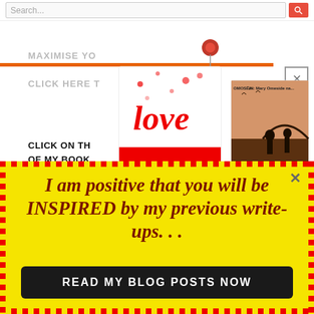[Figure (screenshot): Search bar at top of webpage with placeholder text 'Search...' and red search button]
MAXIMISE YO[ur...]
CLICK HERE T[o...]
CLICK ON TH[E COVERS]
OF MY BOOK[S...]
[Figure (photo): Two book covers displayed: 'love LIKE NO OTHER' with red cover and hearts, and a second book showing silhouettes of people. A red pin/tack is shown above the books.]
I am positive that you will be INSPIRED by my previous write-ups. . .
READ MY BLOG POSTS NOW